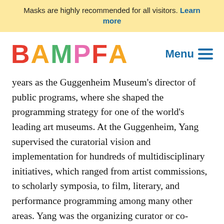Masks are highly recommended for all visitors. Learn more
[Figure (logo): BAMPFA logo in multicolored letters]
Menu ≡
years as the Guggenheim Museum's director of public programs, where she shaped the programming strategy for one of the world's leading art museums. At the Guggenheim, Yang supervised the curatorial vision and implementation for hundreds of multidisciplinary initiatives, which ranged from artist commissions, to scholarly symposia, to film, literary, and performance programming among many other areas. Yang was the organizing curator or co-curator on multiple performance commissions and social practice projects at the Guggenheim